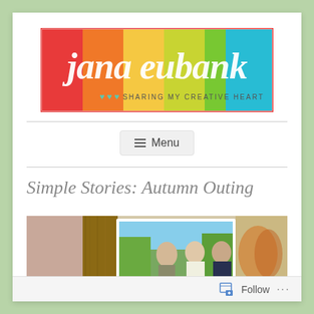[Figure (logo): Jana Eubank blog logo — colorful horizontal banner with gradient color blocks (red, orange, yellow, green, teal/blue), script text 'jana eubank' in white, tagline 'SHARING MY CREATIVE HEART' with small heart icons]
≡  Menu
Simple Stories: Autumn Outing
[Figure (photo): Partial photo showing scrapbook layout pages with family photo of two women and a boy outdoors in autumn setting]
Follow ...